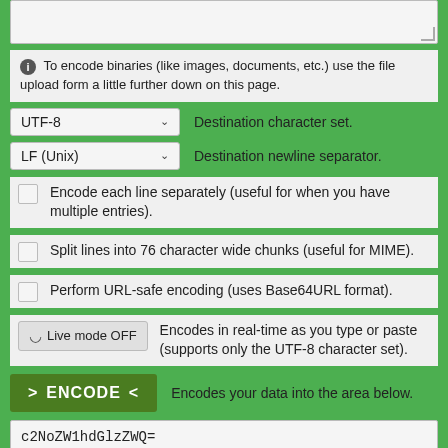[Figure (screenshot): Empty textarea input box with resize handle]
To encode binaries (like images, documents, etc.) use the file upload form a little further down on this page.
UTF-8  Destination character set.
LF (Unix)  Destination newline separator.
Encode each line separately (useful for when you have multiple entries).
Split lines into 76 character wide chunks (useful for MIME).
Perform URL-safe encoding (uses Base64URL format).
Live mode OFF  Encodes in real-time as you type or paste (supports only the UTF-8 character set).
ENCODE  Encodes your data into the area below.
c2NoZW1hdGlzZWQ=